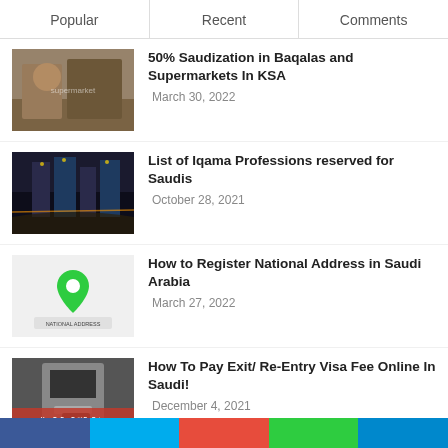Popular | Recent | Comments
[Figure (photo): People at a supermarket checkout counter with masks]
50% Saudization in Baqalas and Supermarkets In KSA
March 30, 2022
[Figure (photo): Aerial night view of city skyscrapers and highway]
List of Iqama Professions reserved for Saudis
October 28, 2021
[Figure (photo): National Address logo with green map pin and Arabic text]
How to Register National Address in Saudi Arabia
March 27, 2022
[Figure (photo): ATM machine with hand using card, overlay text: How To Pay Exit/Re-Entry Visa Fee Online In Saudi!]
How To Pay Exit/ Re-Entry Visa Fee Online In Saudi!
December 4, 2021